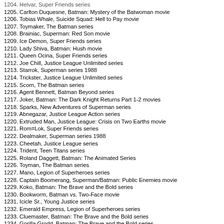1204. Helvar, Super Friends series (truncated at top)
1205. Carlton Duquesne, Batman: Mystery of the Batwoman movie
1206. Tobias Whale, Suicide Squad: Hell to Pay movie
1207. Toymaker, The Batman series
1208. Brainiac, Superman: Red Son movie
1209. Ice Demon, Super Friends series
1210. Lady Shiva, Batman: Hush movie
1211. Queen Ocina, Super Friends series
1212. Joe Chill, Justice League Unlimited series
1213. Starrok, Superman series 1988
1214. Trickster, Justice League Unlimited series
1215. Scorn, The Batman series
1216. Agent Bennett, Batman Beyond series
1217. Joker, Batman: The Dark Knight Returns Part 1-2 movies
1218. Sparks, New Adventures of Superman series
1219. Abnegazar, Justice League Action series
1220. Extruded Man, Justice League: Crisis on Two Earths movie
1221. Rom=Lok, Super Friends series
1222. Dealmaker, Superman series 1988
1223. Cheetah, Justice League series
1224. Trident, Teen Titans series
1225. Roland Daggett, Batman: The Animated Series
1226. Toyman, The Batman series
1227. Mano, Legion of Superheroes series
1228. Captain Boomerang, Superman/Batman: Public Enemies movie
1229. Koko, Batman: The Brave and the Bold series
1230. Bookworm, Batman vs. Two-Face movie
1231. Icicle Sr., Young Justice series
1232. Emerald Empress, Legion of Superheroes series
1233. Cluemaster, Batman: The Brave and the Bold series
1234. Gorilla Grodd, Batman: The Brave and the Bold series